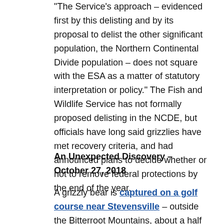“The Service’s approach – evidenced first by this delisting and by its proposal to delist the other significant population, the Northern Continental Divide population – does not square with the ESA as a matter of statutory interpretation or policy.” The Fish and Wildlife Service has not formally proposed delisting in the NCDE, but officials have long said grizzlies have met recovery criteria, and had announced plans to decide whether or not to remove federal protections by the end of the year.
An Unexpected Discovery – October 27, 2018
A grizzly bear is captured on a golf course near Stevensville – outside the Bitterroot Mountains, about a half hour south of Missoula. Bear